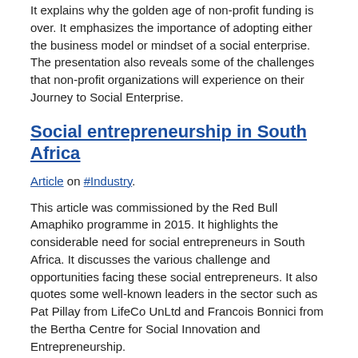It explains why the golden age of non-profit funding is over. It emphasizes the importance of adopting either the business model or mindset of a social enterprise. The presentation also reveals some of the challenges that non-profit organizations will experience on their Journey to Social Enterprise.
Social entrepreneurship in South Africa
Article on #Industry.
This article was commissioned by the Red Bull Amaphiko programme in 2015. It highlights the considerable need for social entrepreneurs in South Africa. It discusses the various challenge and opportunities facing these social entrepreneurs. It also quotes some well-known leaders in the sector such as Pat Pillay from LifeCo UnLtd and Francois Bonnici from the Bertha Centre for Social Innovation and Entrepreneurship.
Rise of the social enterprise
Small Business Connect on #Industry.